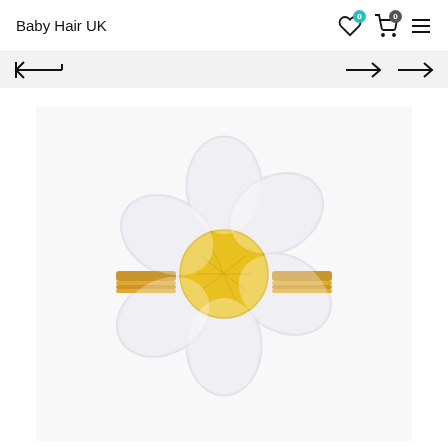Baby Hair UK
[Figure (screenshot): E-commerce website screenshot showing Baby Hair UK header with wishlist (0) and cart (0) icons, navigation arrows, and a product image of a white daisy flower hair clip with yellow center on a gold/yellow snap clip.]